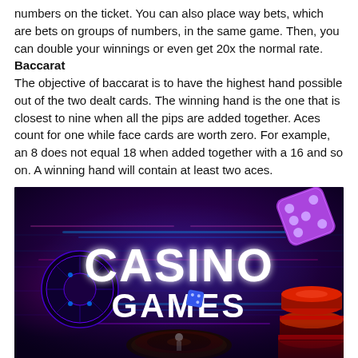numbers on the ticket. You can also place way bets, which are bets on groups of numbers, in the same game. Then, you can double your winnings or even get 20x the normal rate. Baccarat The objective of baccarat is to have the highest hand possible out of the two dealt cards. The winning hand is the one that is closest to nine when all the pips are added together. Aces count for one while face cards are worth zero. For example, an 8 does not equal 18 when added together with a 16 and so on. A winning hand will contain at least two aces.
[Figure (illustration): A dark neon-lit casino scene with the text CASINO GAMES in large bold white letters, a purple glowing dice in the upper right, a roulette wheel at the bottom, stacked poker chips on the right, and a chip/token on the left side. Blue and pink neon lights in the background.]